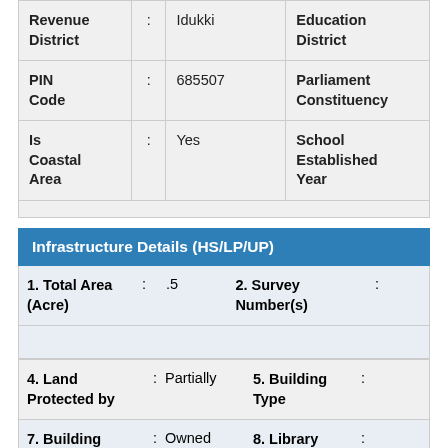| Revenue District | : | Idukki | Education District |  |
| PIN Code | : | 685507 | Parliament Constituency |  |
| Is Coastal Area | : | Yes | School Established Year |  |
Infrastructure Details (HS/LP/UP)
| 1. Total Area (Acre) | : | .5 | 2. Survey Number(s) | : |
| 4. Land Protected by | : | Partially | 5. Building Type | : |
| 7. Building | : | Owned | 8. Library | : |